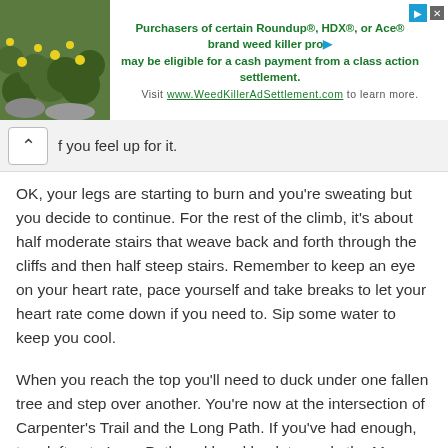[Figure (photo): Advertisement banner with a photo of green plants with yellow flowers on the left, and text about Roundup/HDX/Ace weed killer class action settlement on the right. Includes a link to WeedKillerAdSettlement.com.]
f you feel up for it.
OK, your legs are starting to burn and you're sweating but you decide to continue. For the rest of the climb, it's about half moderate stairs that weave back and forth through the cliffs and then half steep stairs. Remember to keep an eye on your heart rate, pace yourself and take breaks to let your heart rate come down if you need to. Sip some water to keep you cool.
When you reach the top you'll need to duck under one fallen tree and step over another. You're now at the intersection of Carpenter's Trail and the Long Path. If you've had enough, turn left onto Long Path and head back towards the Museum which is about 0.8 miles away. Otherwise continue (right) on the